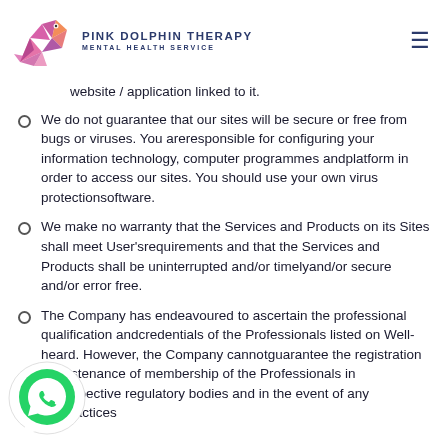PINK DOLPHIN THERAPY MENTAL HEALTH SERVICE
website / application linked to it.
We do not guarantee that our sites will be secure or free from bugs or viruses. You areresponsible for configuring your information technology, computer programmes andplatform in order to access our sites. You should use your own virus protectionsoftware.
We make no warranty that the Services and Products on its Sites shall meet User'srequirements and that the Services and Products shall be uninterrupted and/or timelyand/or secure and/or error free.
The Company has endeavoured to ascertain the professional qualification andcredentials of the Professionals listed on Well-heard. However, the Company cannotguarantee the registration or sustenance of membership of the Professionals in therespective regulatory bodies and in the event of any malpractices